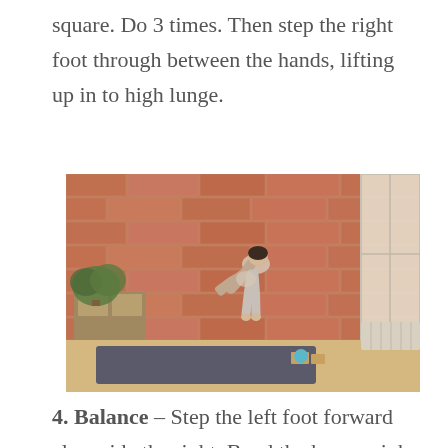square. Do 3 times. Then step the right foot through between the hands, lifting up in to high lunge.
[Figure (photo): A pregnant woman in a yoga studio performing a forward bend/balance pose on a dark yoga mat. She is on tiptoe, leaning forward with arms stretched. Background shows a red brick wall, a plant on a wooden cabinet, and a bright window on the right. Props (yoga blocks, ball) visible on the mat.]
4. Balance – Step the left foot forward alongside the right. Bend the knees, sink the hips down, and reach the arms forward in Chair Pose. Reach the